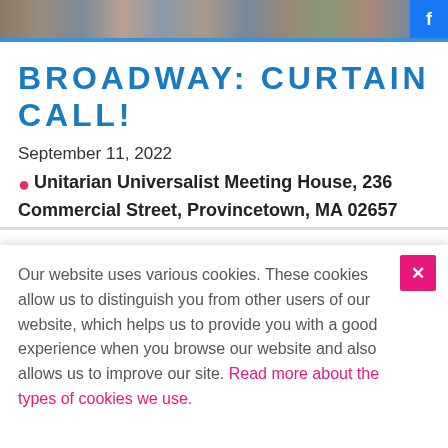[Figure (photo): Strip of people photos at the top of the page, with a blue Facebook button on the right]
BROADWAY: CURTAIN CALL!
September 11, 2022
📍 Unitarian Universalist Meeting House, 236
Commercial Street, Provincetown, MA 02657
Our website uses various cookies. These cookies allow us to distinguish you from other users of our website, which helps us to provide you with a good experience when you browse our website and also allows us to improve our site. Read more about the types of cookies we use.